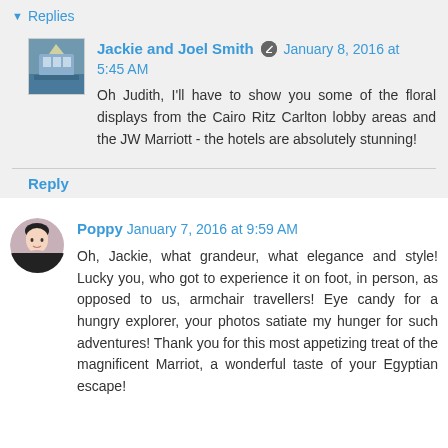▼ Replies
Jackie and Joel Smith  January 8, 2016 at 5:45 AM
Oh Judith, I'll have to show you some of the floral displays from the Cairo Ritz Carlton lobby areas and the JW Marriott - the hotels are absolutely stunning!
Reply
Poppy  January 7, 2016 at 9:59 AM
Oh, Jackie, what grandeur, what elegance and style! Lucky you, who got to experience it on foot, in person, as opposed to us, armchair travellers! Eye candy for a hungry explorer, your photos satiate my hunger for such adventures! Thank you for this most appetizing treat of the magnificent Marriot, a wonderful taste of your Egyptian escape!